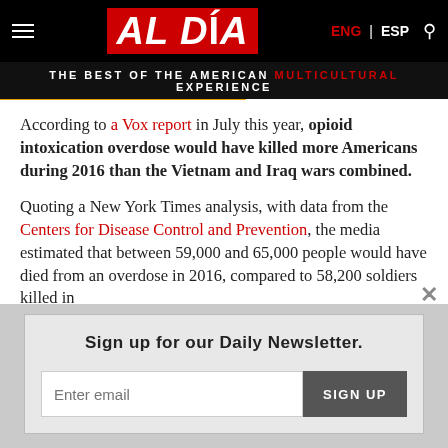AL DÍA — THE BEST OF THE AMERICAN MULTICULTURAL EXPERIENCE
According to a Vox report in July this year, opioid intoxication overdose would have killed more Americans during 2016 than the Vietnam and Iraq wars combined.
Quoting a New York Times analysis, with data from the Centers for Disease Control and Prevention, the media estimated that between 59,000 and 65,000 people would have died from an overdose in 2016, compared to 58,200 soldiers killed in
Sign up for our Daily Newsletter.